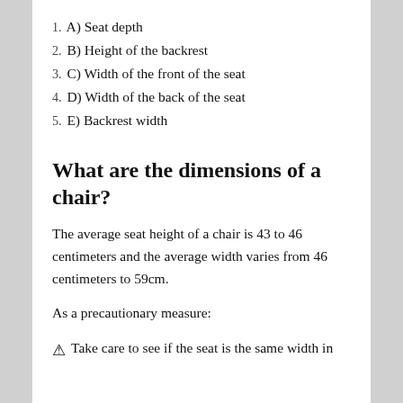1. A) Seat depth
2. B) Height of the backrest
3. C) Width of the front of the seat
4. D) Width of the back of the seat
5. E) Backrest width
What are the dimensions of a chair?
The average seat height of a chair is 43 to 46 centimeters and the average width varies from 46 centimeters to 59cm.
As a precautionary measure:
Take care to see if the seat is the same width in